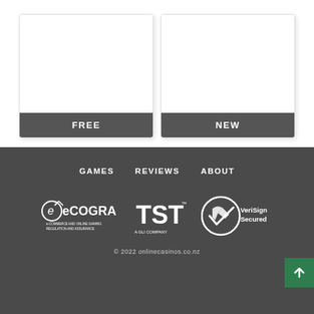[Figure (other): Two white cards side by side. Left card has dark gray banner at bottom labeled FREE. Right card has dark gray banner at bottom labeled NEW.]
GAMES   REVIEWS   ABOUT
[Figure (logo): eCOGRA logo - e-Commerce and Online Gaming Regulation and Assurance]
[Figure (logo): TST - A GLI Company logo]
[Figure (logo): VeriSign Secured logo with checkmark]
© 2022 onlinecasinos.co.nz